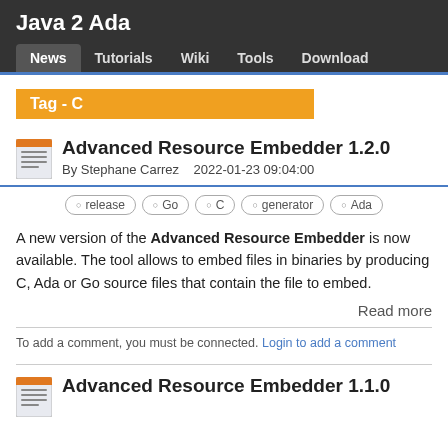Java 2 Ada
News   Tutorials   Wiki   Tools   Download
Tag - C
Advanced Resource Embedder 1.2.0
By Stephane Carrez   2022-01-23 09:04:00
release
Go
C
generator
Ada
A new version of the Advanced Resource Embedder is now available. The tool allows to embed files in binaries by producing C, Ada or Go source files that contain the file to embed.
Read more
To add a comment, you must be connected. Login to add a comment
Advanced Resource Embedder 1.1.0